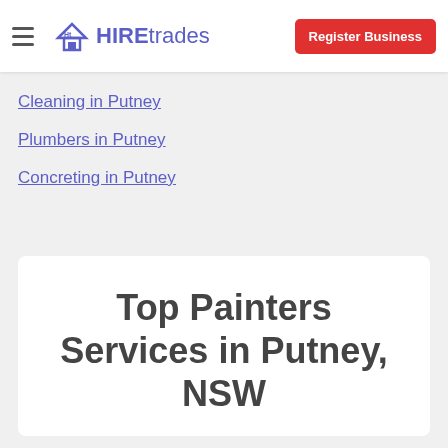HIREtrades | Register Business
Cleaning in Putney
Plumbers in Putney
Concreting in Putney
Top Painters Services in Putney, NSW